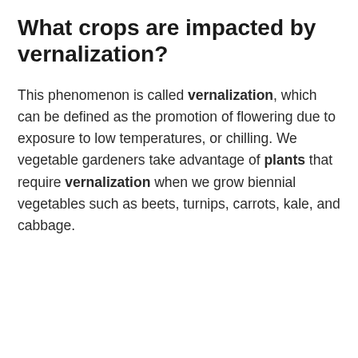What crops are impacted by vernalization?
This phenomenon is called vernalization, which can be defined as the promotion of flowering due to exposure to low temperatures, or chilling. We vegetable gardeners take advantage of plants that require vernalization when we grow biennial vegetables such as beets, turnips, carrots, kale, and cabbage.